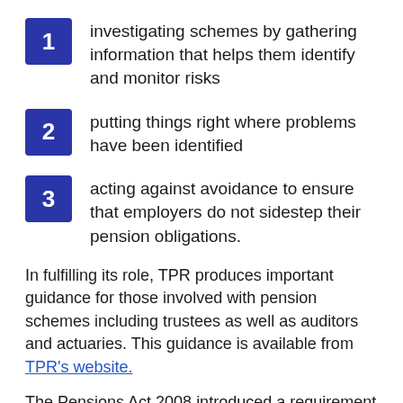1 investigating schemes by gathering information that helps them identify and monitor risks
2 putting things right where problems have been identified
3 acting against avoidance to ensure that employers do not sidestep their pension obligations.
In fulfilling its role, TPR produces important guidance for those involved with pension schemes including trustees as well as auditors and actuaries. This guidance is available from TPR's website.
The Pensions Act 2008 introduced a requirement on UK employers to automatically enrol all employees in a 'qualifying auto-enrolment pension scheme' and to make contributions to that scheme on their behalf. Enrolment may be either into an occupational pension scheme or a contract based scheme.